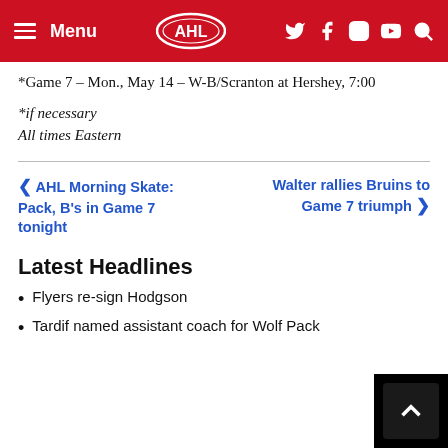Menu | AHL | (social icons)
*Game 7 – Mon., May 14 – W-B/Scranton at Hershey, 7:00
*if necessary
All times Eastern
< AHL Morning Skate: Pack, B's in Game 7 tonight
Walter rallies Bruins to Game 7 triumph >
Latest Headlines
Flyers re-sign Hodgson
Tardif named assistant coach for Wolf Pack